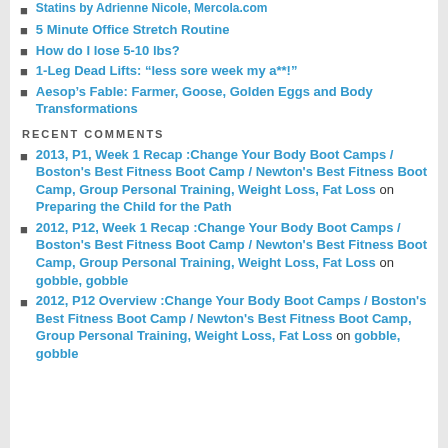Statins by Adrienne Nicole, Mercola.com
5 Minute Office Stretch Routine
How do I lose 5-10 lbs?
1-Leg Dead Lifts: “less sore week my a**!”
Aesop’s Fable: Farmer, Goose, Golden Eggs and Body Transformations
RECENT COMMENTS
2013, P1, Week 1 Recap :Change Your Body Boot Camps / Boston's Best Fitness Boot Camp / Newton's Best Fitness Boot Camp, Group Personal Training, Weight Loss, Fat Loss on Preparing the Child for the Path
2012, P12, Week 1 Recap :Change Your Body Boot Camps / Boston's Best Fitness Boot Camp / Newton's Best Fitness Boot Camp, Group Personal Training, Weight Loss, Fat Loss on gobble, gobble
2012, P12 Overview :Change Your Body Boot Camps / Boston's Best Fitness Boot Camp / Newton's Best Fitness Boot Camp, Group Personal Training, Weight Loss, Fat Loss on gobble, gobble